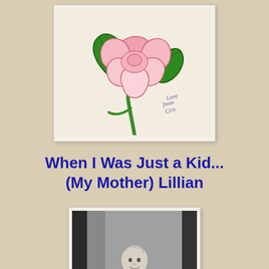[Figure (illustration): A child's drawing/painting of a pink rose with green leaves and stem on a cream/beige background. In the lower right corner, cursive handwriting reads 'Love from Cris'.]
When I Was Just a Kid... (My Mother) Lillian
[Figure (photo): A black and white photograph of a young toddler, possibly Lillian as a baby, standing in a doorway. The child is wearing a light-colored outfit and smiling slightly.]